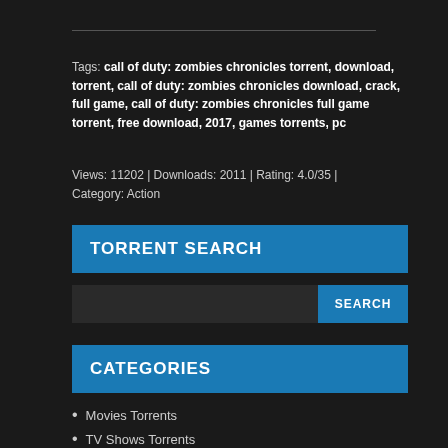Tags: call of duty: zombies chronicles torrent, download, torrent, call of duty: zombies chronicles download, crack, full game, call of duty: zombies chronicles full game torrent, free download, 2017, games torrents, pc
Views: 11202 | Downloads: 2011 | Rating: 4.0/35 | Category: Action
TORRENT SEARCH
CATEGORIES
Movies Torrents
TV Shows Torrents